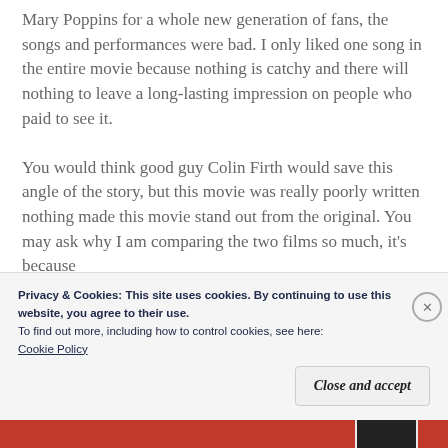Mary Poppins for a whole new generation of fans, the songs and performances were bad. I only liked one song in the entire movie because nothing is catchy and there will nothing to leave a long-lasting impression on people who paid to see it.

You would think good guy Colin Firth would save this angle of the story, but this movie was really poorly written nothing made this movie stand out from the original. You may ask why I am comparing the two films so much, it's because
Privacy & Cookies: This site uses cookies. By continuing to use this website, you agree to their use.
To find out more, including how to control cookies, see here:
Cookie Policy